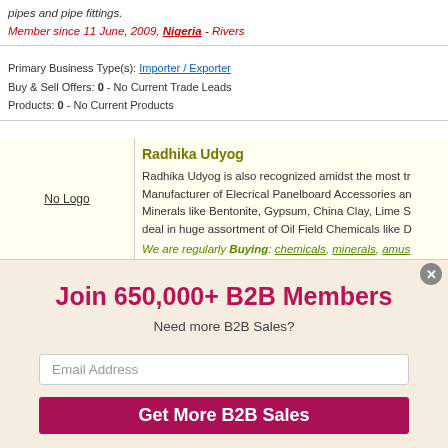pipes and pipe fittings.
Member since 11 June, 2009, Nigeria - Rivers
Primary Business Type(s): Importer / Exporter
Buy & Sell Offers: 0 - No Current Trade Leads
Products: 0 - No Current Products
Radhika Udyog
Radhika Udyog is also recognized amidst the most tr... Manufacturer of Elecrical Panelboard Accessories an... Minerals like Bentonite, Gypsum, China Clay, Lime S... deal in huge assortment of Oil Field Chemicals like D...
We are regularly Buying: chemicals, minerals, amus... industrial raw materials, oilfield chemicals, plastic gra... switchgear, scrap ms plastic, fire and safety equipme...
Member since 20 June, 2019, India - Gujarat
Join 650,000+ B2B Members
Need more B2B Sales?
Email Address
Get More B2B Sales